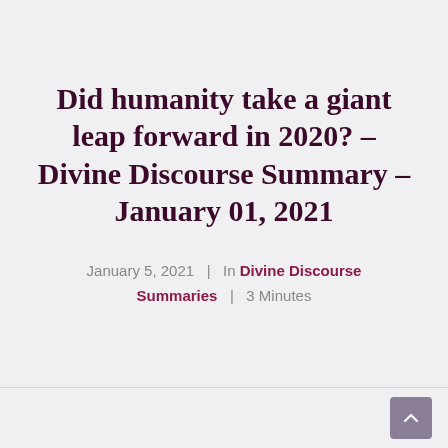Did humanity take a giant leap forward in 2020? – Divine Discourse Summary – January 01, 2021
January 5, 2021  |  In Divine Discourse Summaries  |  3 Minutes